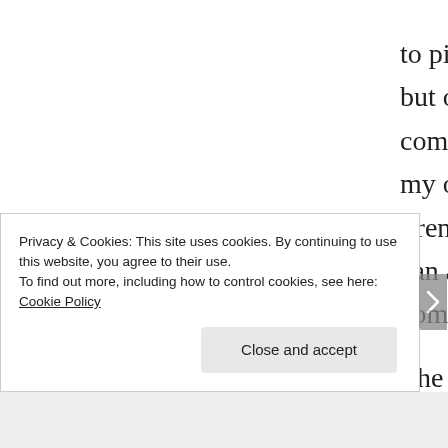to pickpocket you, but overall this visit completely changed my outlook on the French. I'm sure they can all rest comfortably now.

The funny thing about Paris for us is that only the very first visit was planned. We went there again a few years ago when our flight from Crete to Athens was delayed,
Privacy & Cookies: This site uses cookies. By continuing to use this website, you agree to their use.
To find out more, including how to control cookies, see here: Cookie Policy

Close and accept